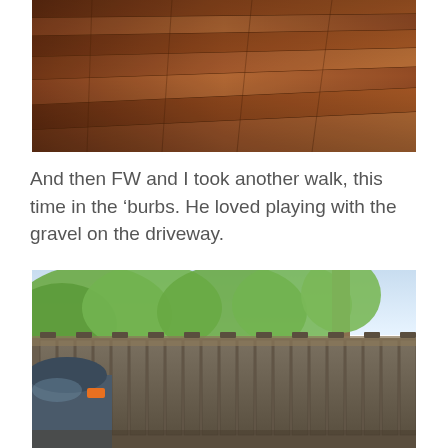[Figure (photo): Close-up photo of hardwood floor with brown wooden planks viewed at an angle]
And then FW and I took another walk, this time in the ‘burbs. He loved playing with the gravel on the driveway.
[Figure (photo): Outdoor photo showing a wooden fence with vertical slats, green trees in the background, and part of a dark-colored car on the left side]